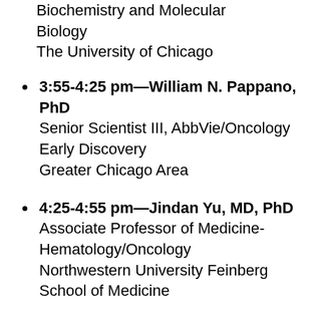Biochemistry and Molecular Biology
The University of Chicago
3:55-4:25 pm—William N. Pappano, PhD
Senior Scientist III, AbbVie/Oncology Early Discovery
Greater Chicago Area
4:25-4:55 pm—Jindan Yu, MD, PhD
Associate Professor of Medicine-Hematology/Oncology
Northwestern University Feinberg School of Medicine